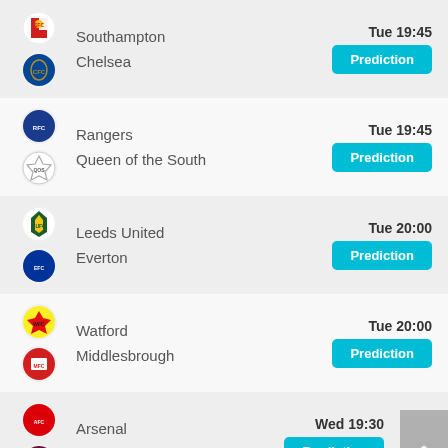Southampton vs Chelsea — Tue 19:45 — Prediction
Rangers vs Queen of the South — Tue 19:45 — Prediction
Leeds United vs Everton — Tue 20:00 — Prediction
Watford vs Middlesbrough — Tue 20:00 — Prediction
Arsenal vs Aston Villa — Wed 19:30 — Prediction